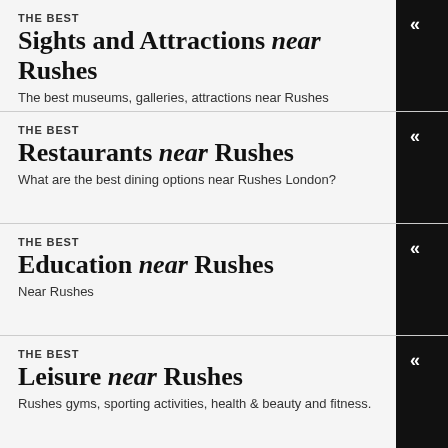THE BEST Sights and Attractions near Rushes
The best museums, galleries, attractions near Rushes
THE BEST Restaurants near Rushes
What are the best dining options near Rushes London?
THE BEST Education near Rushes
Near Rushes
THE BEST Leisure near Rushes
Rushes gyms, sporting activities, health & beauty and fitness.